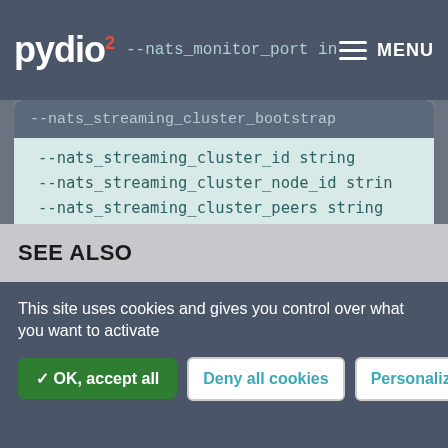pydio --nats_monitor_port int --nats_streaming_cluster_bootstrap MENU
--nats_streaming_cluster_id string
--nats_streaming_cluster_node_id string
--nats_streaming_cluster_peers string
--nats_streaming_clustered
--nats_streaming_store string
--port_broker int
--port_registry int
--registry string
--transport string
SEE ALSO
This site uses cookies and gives you control over what you want to activate
✓ OK, accept all   Deny all cookies   Personalize